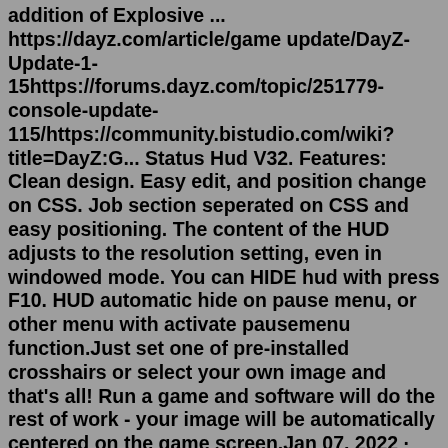addition of Explosive ... https://dayz.com/article/game update/DayZ-Update-1-15https://forums.dayz.com/topic/251779-console-update-115/https://community.bistudio.com/wiki?title=DayZ:G... Status Hud V32. Features: Clean design. Easy edit, and position change on CSS. Job section seperated on CSS and easy positioning. The content of the HUD adjusts to the resolution setting, even in windowed mode. You can HIDE hud with press F10. HUD automatic hide on pause menu, or other menu with activate pausemenu function.Just set one of pre-installed crosshairs or select your own image and that's all! Run a game and software will do the rest of work - your image will be automatically centered on the game screen.Jan 07, 2022 · DayZ is a fine-looking game in the right circumstances. After a long adventure with your pals, or even a solo walk across Chernarus, you might find yourself wanting to capture the moment with a... Check out our dayz hud selection for the very best in unique or custom, handmade pieces from our shops.Dec 14, 2014 · I've